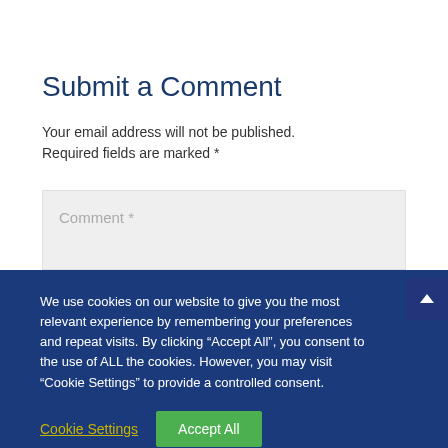Submit a Comment
Your email address will not be published. Required fields are marked *
Comment *
We use cookies on our website to give you the most relevant experience by remembering your preferences and repeat visits. By clicking “Accept All”, you consent to the use of ALL the cookies. However, you may visit "Cookie Settings" to provide a controlled consent.
Cookie Settings
Accept All